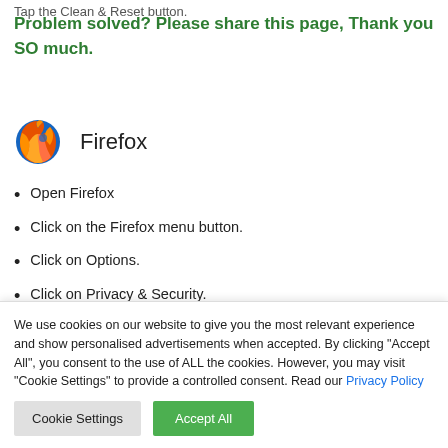Tap the Clean & Reset button.
Problem solved? Please share this page, Thank you SO much.
[Figure (logo): Firefox browser logo (orange fox around blue globe) with label 'Firefox']
Open Firefox
Click on the Firefox menu button.
Click on Options.
Click on Privacy & Security.
We use cookies on our website to give you the most relevant experience and show personalised advertisements when accepted. By clicking "Accept All", you consent to the use of ALL the cookies. However, you may visit "Cookie Settings" to provide a controlled consent. Read our Privacy Policy